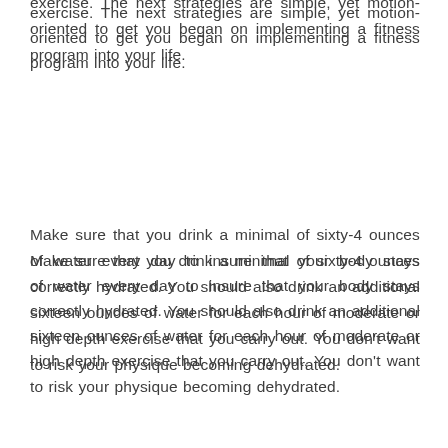exercise. The next strategies are simple, yet motion-oriented to get you began on implementing a fitness program into your life.
Make sure that you drink a minimal of sixty-4 ounces of water every day to insure that your body stays correctly hydrated. You should also drink an additional sixteen ounces of water for each hour of moderate or high depth exercise that you carry out. You don't want to risk your physique becoming dehydrated.
Fitness is not something that essentially has to be carried out on the gym. Fitness is all about consistency! A very good thing to do to get fit and not overwhelm your self, is a each day one hour